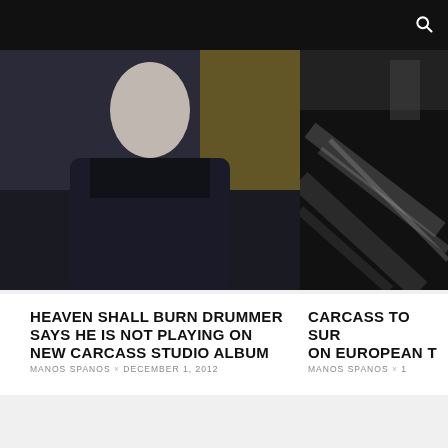[Figure (photo): Man in dark t-shirt photographed from above the waist, yellow/tan wall in background]
[Figure (photo): Dark blurred image with diagonal light streaks or lines]
HEAVEN SHALL BURN DRUMMER SAYS HE IS NOT PLAYING ON NEW CARCASS STUDIO ALBUM
MANOS SPANOS × DECEMBER 1, 2012
CARCASS TO SUR ON EUROPEAN T
MANOS SPANOS × 1
SEARCH AND DESTROY
Search..